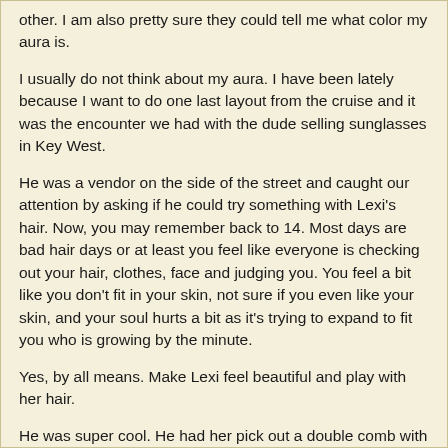other. I am also pretty sure they could tell me what color my aura is.
I usually do not think about my aura. I have been lately because I want to do one last layout from the cruise and it was the encounter we had with the dude selling sunglasses in Key West.
He was a vendor on the side of the street and caught our attention by asking if he could try something with Lexi's hair. Now, you may remember back to 14. Most days are bad hair days or at least you feel like everyone is checking out your hair, clothes, face and judging you. You feel a bit like you don't fit in your skin, not sure if you even like your skin, and your soul hurts a bit as it's trying to expand to fit you who is growing by the minute.
Yes, by all means. Make Lexi feel beautiful and play with her hair.
He was super cool. He had her pick out a double comb with sparkles and twisted her hair up off her neck. He was not